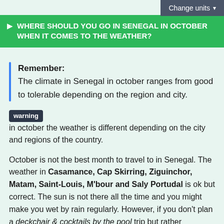Change units ▾
▶ WHERE SHOULD YOU GO IN SENEGAL IN OCTOBER WHEN IT COMES TO THE WEATHER?
Remember:
The climate in Senegal in october ranges from good to tolerable depending on the region and city.
warning in october the weather is different depending on the city and regions of the country.
October is not the best month to travel to in Senegal. The weather in Casamance, Cap Skirring, Ziguinchor, Matam, Saint-Louis, M'bour and Saly Portudal is ok but correct. The sun is not there all the time and you might make you wet by rain regularly. However, if you don't plan a deckchair & cocktails by the pool trip but rather